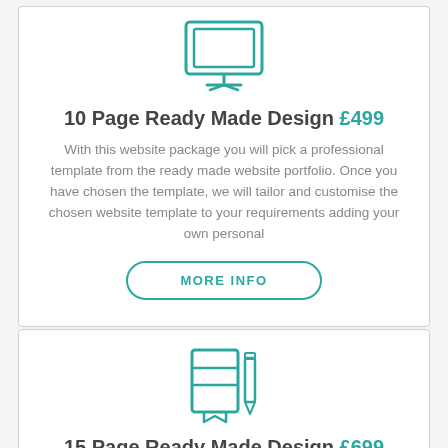[Figure (illustration): Teal outline icon of a desktop computer monitor]
10 Page Ready Made Design £499
With this website package you will pick a professional template from the ready made website portfolio. Once you have chosen the template, we will tailor and customise the chosen website template to your requirements adding your own personal
MORE INFO
[Figure (illustration): Teal outline icon of a notebook/book with a pencil]
15 Page Ready Made Design £699